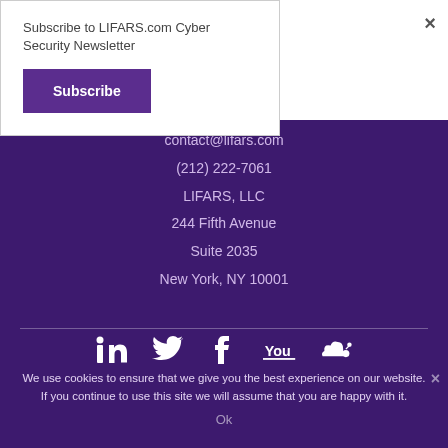Subscribe to LIFARS.com Cyber Security Newsletter
Subscribe
×
contact@lifars.com
(212) 222-7061
LIFARS, LLC
244 Fifth Avenue
Suite 2035
New York, NY 10001
[Figure (infographic): Social media icons: LinkedIn, Twitter, Facebook, YouTube, and another icon (SoundCloud or similar), all white on dark purple background]
We use cookies to ensure that we give you the best experience on our website. If you continue to use this site we will assume that you are happy with it.
Ok